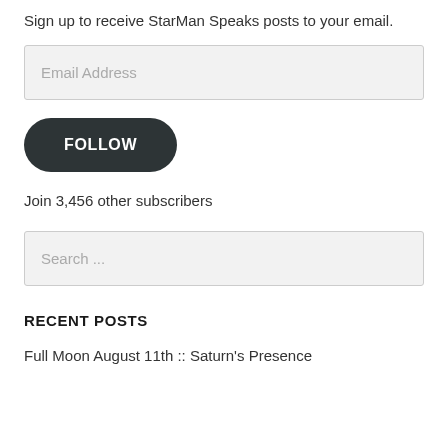Sign up to receive StarMan Speaks posts to your email.
[Figure (screenshot): Email Address input field with light gray background]
[Figure (screenshot): FOLLOW button with dark rounded rectangle style]
Join 3,456 other subscribers
[Figure (screenshot): Search ... input field with light gray background]
RECENT POSTS
Full Moon August 11th :: Saturn's Presence